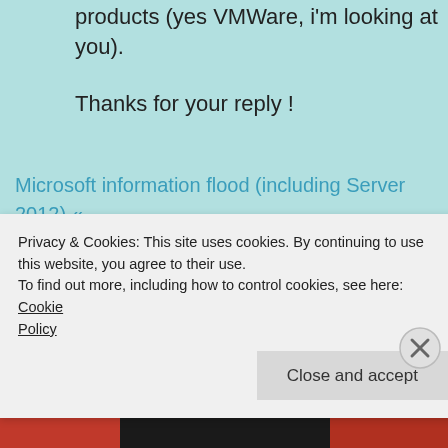products (yes VMWare, i'm looking at you).
Thanks for your reply !
Microsoft information flood (including Server 2012) « blog.bjornhouben.com
July 15, 2012 at 2:22 am
[...] A Response to VMware's 'Get the Facts' page
Privacy & Cookies: This site uses cookies. By continuing to use this website, you agree to their use.
To find out more, including how to control cookies, see here: Cookie Policy
Close and accept